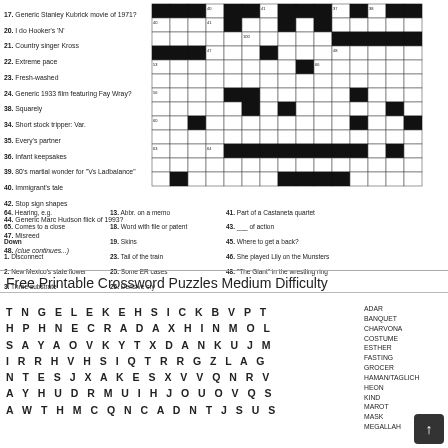[Figure (other): Crossword puzzle grid with black and white squares and clue numbers]
17. Generic Stanley Kubrick movie of 1971?
20. I do Hooker's 'N'
21. Country singer Kross
22. Extreme pace
23. Fresh-washed
24. Generic 1933 film featuring Fay Wray?
38. Squarely
34. Short stock tripper: Var.
35. Every's partner
36. Infant keepsakes
39. 80's martial wonder for 'Vs Ladbalance'
40. Immigrants tale
42. Stop sign shapes
44. Generic Marc Hudson flick of 1993?
47. Misreed
64. Hearing, e.g.
65. Comes to a close
Down
1. Disconnect
2. New Mexico's state flower
3. Three substrate
13. Abbr. on a memo
18. Word with file or patent
19. Skins
23. Tail of the train
25. Some ER cases
26. Derisive cry
41. Part of a Castaneta quartet
43. ___ of action
45. Where to get a back?
46. She played Lily on the Munsters
48. 'The Giant' in the wrestling ring
Free Printable Crossword Puzzles Medium Difficulty
[Figure (other): Word search puzzle grid with letters and word list on the right side. Letters include: TNGELE KEHSICKBVPT / HPHNEC RADAXHINMOL / SAYAOV KTXDANKUJM / IRRHVH SIQTRRG ZLAG / NTESJX AKESXVVQNRV / AYHUDR MUIHJOUVQS / AWTHMC QNCADNTJSUS. Word list: ADAR, BANQUET, CHARVONA, COSTUME, ESTHER, FASTING, GROCER, HAMAN/TAGLICH, HEON, KIND, MAROT, MASK, MEGALLAH]